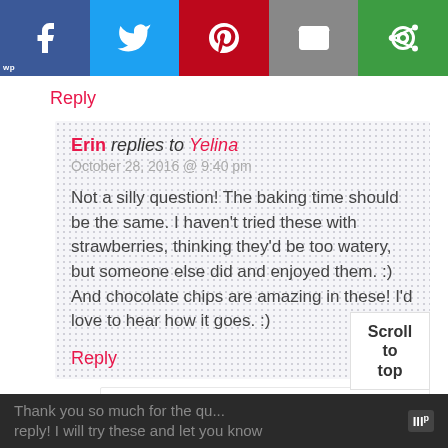[Figure (other): Social share bar with Facebook, Twitter, Pinterest, Email, and More buttons]
Reply
Erin replies to Yelina
October 28, 2016 @ 9:40 pm

Not a silly question! The baking time should be the same. I haven't tried these with strawberries, thinking they'd be too watery, but someone else did and enjoyed them. :) And chocolate chips are amazing in these! I'd love to hear how it goes. :)
Reply
Yelina replies to Erin
October 29, 2016 @ 3:54 pm
Thank you so much for the qu... reply! I will try these and let you know